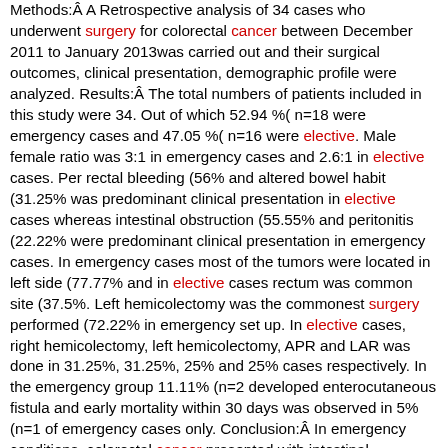Methods: A Retrospective analysis of 34 cases who underwent surgery for colorectal cancer between December 2011 to January 2013was carried out and their surgical outcomes, clinical presentation, demographic profile were analyzed. Results: The total numbers of patients included in this study were 34. Out of which 52.94 %( n=18 were emergency cases and 47.05 %( n=16 were elective. Male female ratio was 3:1 in emergency cases and 2.6:1 in elective cases. Per rectal bleeding (56% and altered bowel habit (31.25% was predominant clinical presentation in elective cases whereas intestinal obstruction (55.55% and peritonitis (22.22% were predominant clinical presentation in emergency cases. In emergency cases most of the tumors were located in left side (77.77% and in elective cases rectum was common site (37.5%. Left hemicolectomy was the commonest surgery performed (72.22% in emergency set up. In elective cases, right hemicolectomy, left hemicolectomy, APR and LAR was done in 31.25%, 31.25%, 25% and 25% cases respectively. In the emergency group 11.11% (n=2 developed enterocutaneous fistula and early mortality within 30 days was observed in 5% (n=1 of emergency cases only. Conclusion: In emergency conditions, colorectal cancer presented with intestinal obstruction where as elective cases presented with per rectal